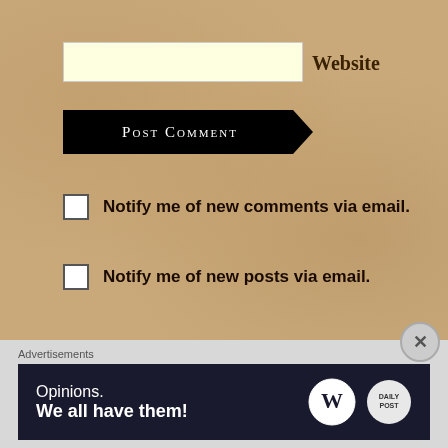Website
Post Comment
Notify me of new comments via email.
Notify me of new posts via email.
Advertisements
[Figure (other): WordPress advertisement banner: 'Opinions. We all have them!' with WordPress logo and Daily Post logo on dark navy background]